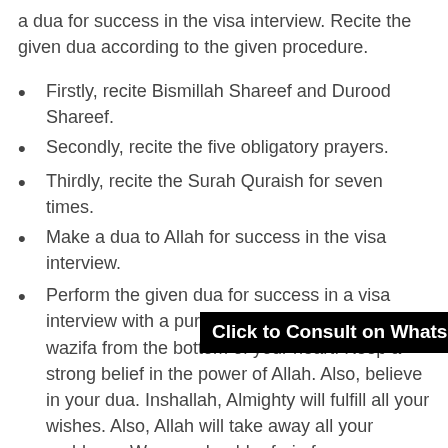a dua for success in the visa interview. Recite the given dua according to the given procedure.
Firstly, recite Bismillah Shareef and Durood Shareef.
Secondly, recite the five obligatory prayers.
Thirdly, recite the Surah Quraish for seven times.
Make a dua to Allah for success in the visa interview.
[Figure (other): Black banner with white bold text: 'Click to Consult on Whatsapp']
Perform the given dua for success in a visa interview with a pure heart. Also, perform the wazifa from the bottom of your heart. Keep a strong belief in the power of Allah. Also, believe in your dua. Inshallah, Almighty will fulfill all your wishes. Also, Allah will take away all your problems. Women should refrain from performing the dua during